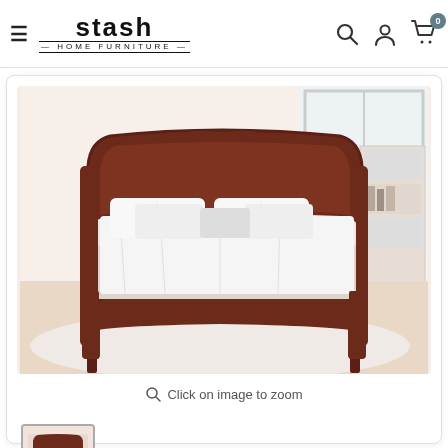Stash Home Furniture — navigation header
[Figure (photo): A dark cherry wood sleigh bed with white bedding and pillows displayed in a bright bedroom setting with hardwood floors and a white fluffy rug. Bookshelf visible in background.]
Click on image to zoom
[Figure (photo): Small thumbnail preview of the same sleigh bed product image]